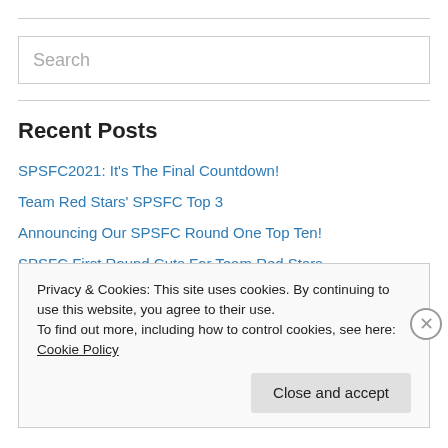Search
Recent Posts
SPSFC2021: It's The Final Countdown!
Team Red Stars' SPSFC Top 3
Announcing Our SPSFC Round One Top Ten!
SPSFC First Round Cuts For Team Red Stars
Announcing Upcoming Announcements For SPSFC!
Privacy & Cookies: This site uses cookies. By continuing to use this website, you agree to their use. To find out more, including how to control cookies, see here: Cookie Policy
Close and accept